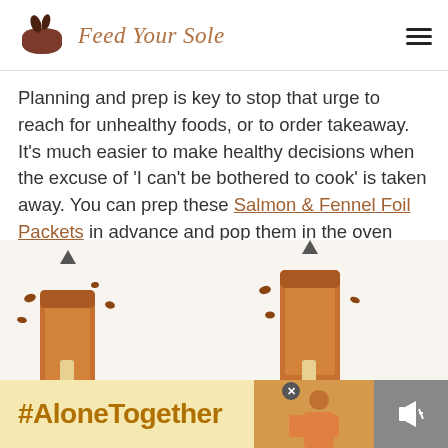Feed Your Sole
Planning and prep is key to stop that urge to reach for unhealthy foods, or to order takeaway. It's much easier to make healthy decisions when the excuse of 'I can't be bothered to cook' is taken away. You can prep these Salmon & Fennel Foil Packets in advance and pop them in the oven when you are ready to eat. And they taste great!
[Figure (photo): Photo of chocolate-covered snack bars or treats on sticks, arranged on a white background]
[Figure (photo): Advertisement banner with #AloneTogether hashtag and woman in kitchen photo]